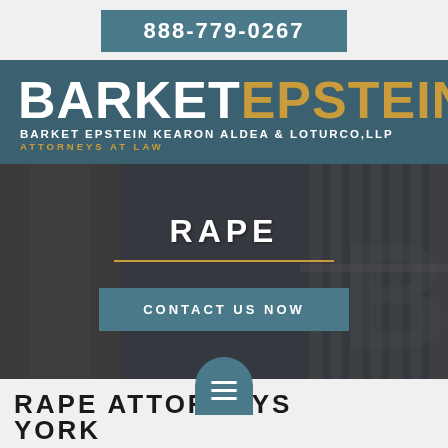888-779-0267
BARKET EPSTEIN
BARKET EPSTEIN KEARON ALDEA & LOTURCO,LLP
ATTORNEYS AT LAW
[Figure (photo): Dark background image of a prison corridor with jail bars on the right side, with overlay text RAPE and a divider line and CONTACT US NOW button]
RAPE ATTORNEYS  YORK